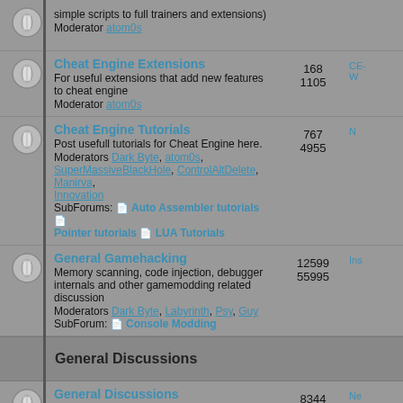Cheat Engine Extensions — For useful extensions that add new features to cheat engine. Moderator atom0s. Topics: 168, Posts: 1105
Cheat Engine Tutorials — Post usefull tutorials for Cheat Engine here. Moderators Dark Byte, atom0s, SuperMassiveBlackHole, ControlAltDelete, Manirva, Innovation. SubForums: Auto Assembler tutorials, Pointer tutorials, LUA Tutorials. Topics: 767, Posts: 4955
General Gamehacking — Memory scanning, code injection, debugger internals and other gamemodding related discussion. Moderators Dark Byte, Labyrinth, Psy, Guy. SubForum: Console Modding. Topics: 12599, Posts: 55995
General Discussions
General Discussions — Post your topics and discussions here that you can't find a good section for. SubForum: Guests. Topics: 8344, Posts: 74995
Art — Post all your 'art' here. And try to be kind. What's pure infantile crap to one person, might be a glimpse of God to someone else. Moderators atom0s, [Spot.], CrisNMP. SubForums: Art Requests, Art Tutorials. Topics: 2505, Posts: 24080
Computer Talk — Mainboard broken in half? vista disk used as clay pigeon? Need help installing software? Topics: 9800, Posts: 91399